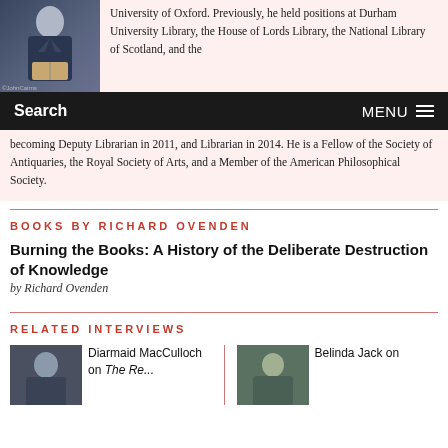[Figure (photo): Portrait photo of a man in a suit reading a book, with caption ©JohnCairns]
University of Oxford. Previously, he held positions at Durham University Library, the House of Lords Library, the National Library of Scotland, and the
Search   MENU
becoming Deputy Librarian in 2011, and Librarian in 2014. He is a Fellow of the Society of Antiquaries, the Royal Society of Arts, and a Member of the American Philosophical Society.
BOOKS BY RICHARD OVENDEN
Burning the Books: A History of the Deliberate Destruction of Knowledge
by Richard Ovenden
RELATED INTERVIEWS
[Figure (photo): Thumbnail photo of Diarmaid MacCulloch]
Diarmaid MacCulloch on The Re...
[Figure (photo): Thumbnail photo of Belinda Jack]
Belinda Jack on